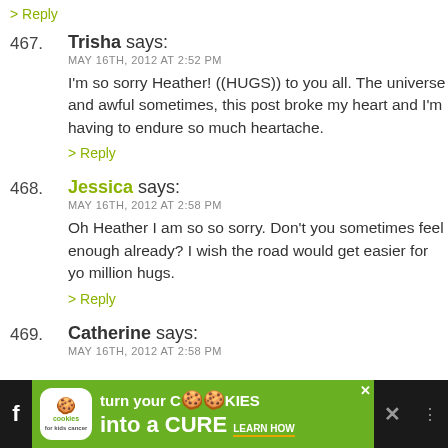> Reply
467. Trisha says: MAY 16TH, 2012 AT 2:52 PM — I'm so sorry Heather! ((HUGS)) to you all. The universe and awful sometimes, this post broke my heart and I'm having to endure so much heartache. > Reply
468. Jessica says: MAY 16TH, 2012 AT 2:58 PM — Oh Heather I am so so sorry. Don't you sometimes feel enough already? I wish the road would get easier for yo million hugs. > Reply
469. Catherine says: MAY 16TH, 2012 AT 2:58 PM
[Figure (screenshot): Advertisement banner at bottom: cookies for kids cancer — turn your cookies into a CURE LEARN HOW]